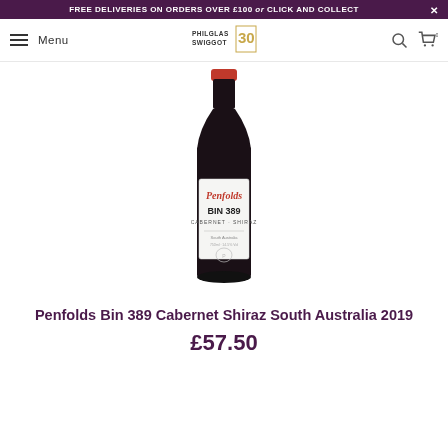FREE DELIVERIES ON ORDERS OVER £100 or CLICK AND COLLECT
[Figure (screenshot): Navigation bar with hamburger menu, Menu text, Philglas & Swiggot 30th anniversary logo, search icon, and cart icon]
[Figure (photo): Bottle of Penfolds Bin 389 Cabernet Shiraz South Australia 2019 red wine with white label]
Penfolds Bin 389 Cabernet Shiraz South Australia 2019
£57.50